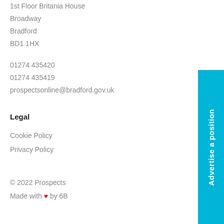1st Floor Britania House
Broadway
Bradford
BD1 1HX
01274 435420
01274 435419
prospectsonline@bradford.gov.uk
Legal
Cookie Policy
Privacy Policy
© 2022 Prospects
Made with ❤ by 6B
[Figure (other): Cyan vertical sidebar button with text 'Advertise a position' rotated 90 degrees]